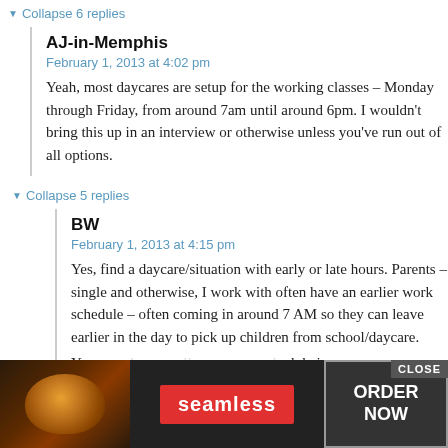▼ Collapse 6 replies
AJ-in-Memphis
February 1, 2013 at 4:02 pm
Yeah, most daycares are setup for the working classes – Monday through Friday, from around 7am until around 6pm. I wouldn't bring this up in an interview or otherwise unless you've run out of all options.
▼ Collapse 5 replies
BW
February 1, 2013 at 4:15 pm
Yes, find a daycare/situation with early or late hours. Parents – single and otherwise, I work with often have an earlier work schedule – often coming in around 7 AM so they can leave earlier in the day to pick up children from school/daycare.
Y... dule in a... hours a... your
[Figure (screenshot): Advertisement overlay showing Seamless food delivery ad with pizza image on left, Seamless red logo in center, ORDER NOW button on right, and CLOSE button at top right.]